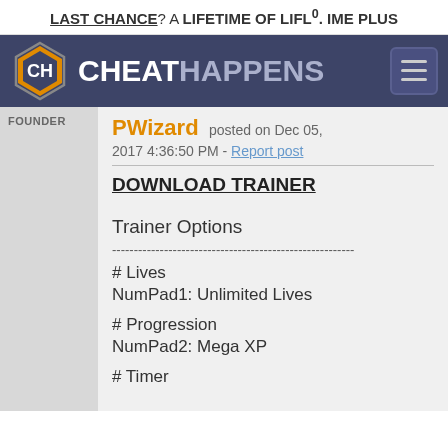LAST CHANCE? A LIFETIME OF LIFL°. IME PLUS
[Figure (logo): Cheat Happens website header with hexagon logo and hamburger menu]
FOUNDER
PWizard posted on Dec 05, 2017 4:36:50 PM - Report post
DOWNLOAD TRAINER
Trainer Options
--------------------------------------------------------
# Lives
NumPad1: Unlimited Lives
# Progression
NumPad2: Mega XP
# Timer